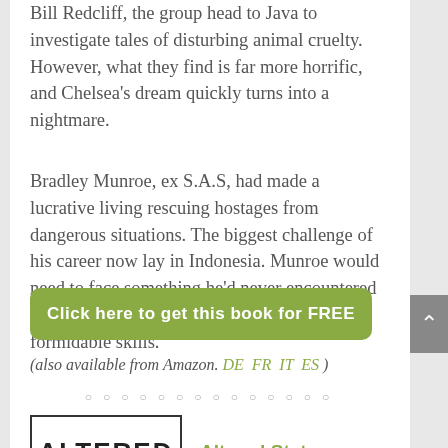Bill Redcliff, the group head to Java to investigate tales of disturbing animal cruelty. However, what they find is far more horrific, and Chelsea's dream quickly turns into a nightmare.
Bradley Munroe, ex S.A.S, had made a lucrative living rescuing hostages from dangerous situations. The biggest challenge of his career now lay in Indonesia. Munroe would need to face something he'd never encountered before. It would push him to the limits of his formidable skills.
Click here to get this book for FREE
(also available from Amazon. DE  FR  IT  ES )
[Figure (other): Row of small circle pagination dots]
[Figure (other): Book cover showing text ALTERED]
Altered States